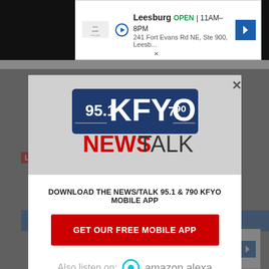[Figure (screenshot): Top advertisement banner for Kate Spade Leesburg store showing OPEN 11AM-8PM, 241 Fort Evans Rd NE, Ste 900, Leesb... with navigation arrow icon]
[Figure (screenshot): KFYO 95.1 & 790 News Talk radio station modal popup with logo, download app prompt, red GET OUR FREE MOBILE APP button, and Amazon Alexa listen option]
DOWNLOAD THE NEWS/TALK 95.1 & 790 KFYO MOBILE APP
GET OUR FREE MOBILE APP
Also listen on: amazon alexa
[Figure (screenshot): Bottom advertisement banner for Kate Spade Leesburg store showing OPEN 11AM-8PM, 241 Fort Evans Rd NE, Ste 900, Leesbur with navigation arrow icon]